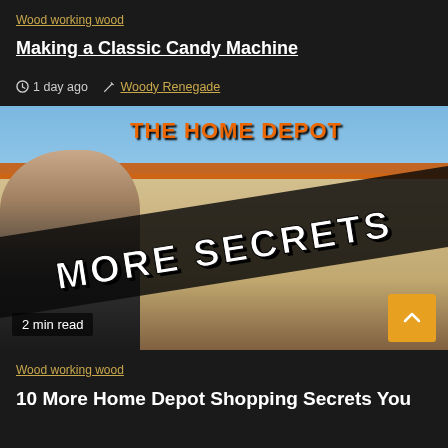Wood working wood
Making a Classic Candy Machine
1 day ago  Woody Renegade
[Figure (photo): Thumbnail image of a bald man holding finger to lips in front of The Home Depot store with 'MORE SECRETS' text overlay in large bold letters]
2 min read
Wood working wood
10 More Home Depot Shopping Secrets You